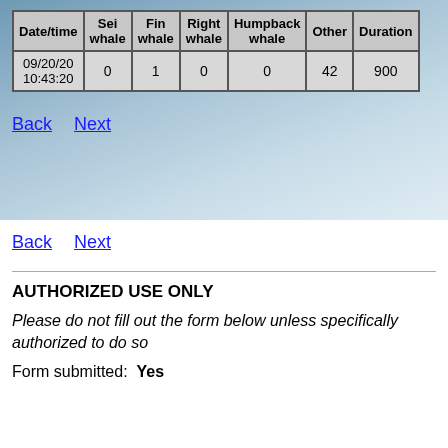| Date/time | Sei whale | Fin whale | Right whale | Humpback whale | Other | Duration |
| --- | --- | --- | --- | --- | --- | --- |
| 09/20/20 10:43:20 | 0 | 1 | 0 | 0 | 42 | 900 |
Back   Next
Back   Next
AUTHORIZED USE ONLY
Please do not fill out the form below unless specifically authorized to do so
Form submitted:  Yes